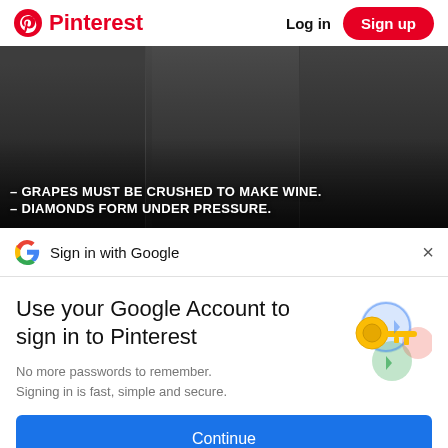Pinterest   Log in   Sign up
[Figure (photo): Black and white photo of three men in suits. Text overlay reads: '- GRAPES MUST BE CRUSHED TO MAKE WINE. - DIAMONDS FORM UNDER PRESSURE.']
Sign in with Google
Use your Google Account to sign in to Pinterest
No more passwords to remember. Signing in is fast, simple and secure.
Continue